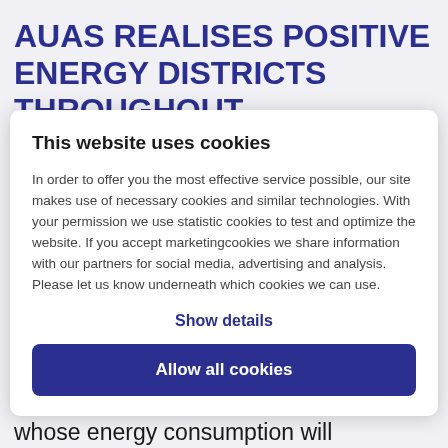AUAS REALISES POSITIVE ENERGY DISTRICTS THROUGHOUT
This website uses cookies
In order to offer you the most effective service possible, our site makes use of necessary cookies and similar technologies. With your permission we use statistic cookies to test and optimize the website. If you accept marketingcookies we share information with our partners for social media, advertising and analysis. Please let us know underneath which cookies we can use.
Show details
Allow all cookies
Amsterdam University of Applied Science (AUAS) are leading five years of research into this new neighbourhood whose energy consumption will